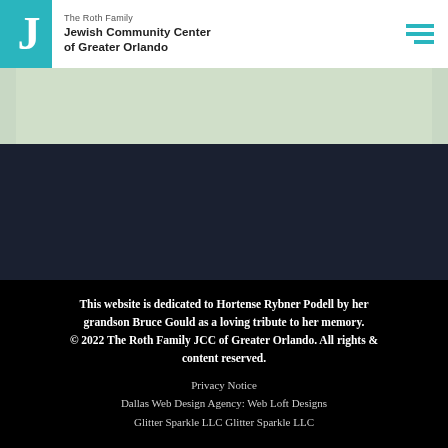The Roth Family Jewish Community Center of Greater Orlando
[Figure (map): Partial view of a map strip, light greenish background]
[Figure (photo): Dark navy background section]
This website is dedicated to Hortense Rybner Podell by her grandson Bruce Gould as a loving tribute to her memory. © 2022 The Roth Family JCC of Greater Orlando. All rights & content reserved.
Privacy Notice
Dallas Web Design Agency: Web Loft Designs Glitter Sparkle LLC Glitter Sparkle LLC